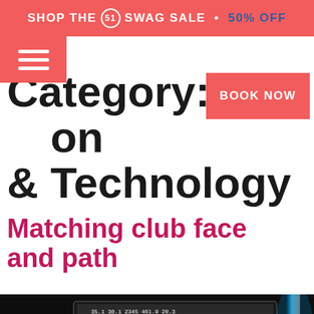SHOP THE ⑤① SWAG SALE • 50% OFF
Category: Instruction & Technology
Matching club face and path
[Figure (photo): Two people in a dark room looking at a large screen displaying golf swing analysis software with trajectory data and metrics on screen. Data shown includes numbers like 35.1, 30.1, 2345, 461.9, 20.3, 0.2, 31.6, 101, 2.0. Blue neon light on the right side of the room.]